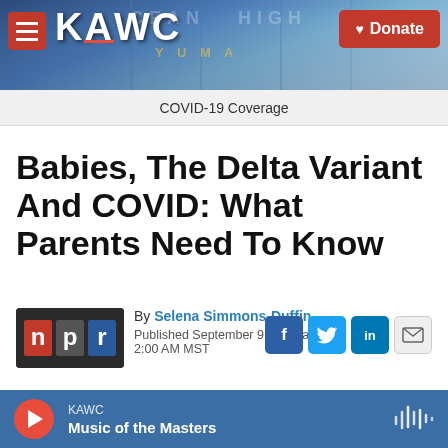[Figure (screenshot): KAWC radio station header banner with building/sign background, hamburger menu button, KAWC logo text, and red Donate button]
COVID-19 Coverage
Babies, The Delta Variant And COVID: What Parents Need To Know
[Figure (logo): NPR logo with red N, dark P, and blue R on dark background]
By Selena Simmons-Duffin
Published September 9, 2021 at 2:00 AM MST
[Figure (infographic): Social share icons: Facebook (f), Twitter bird, LinkedIn (in), and email envelope]
KAWC
Music of the Masters